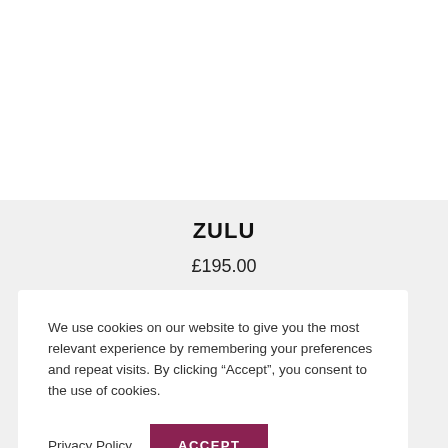ZULU
£195.00
We use cookies on our website to give you the most relevant experience by remembering your preferences and repeat visits. By clicking “Accept”, you consent to the use of cookies.
Privacy Policy
ACCEPT
Cookie Settings